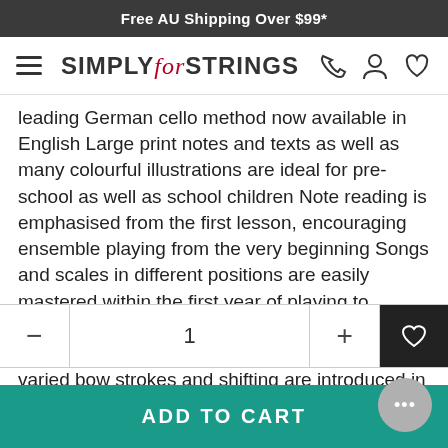Free AU Shipping Over $99*
[Figure (logo): Simply for Strings logo with hamburger menu and nav icons (phone, person, heart)]
leading German cello method now available in English Large print notes and texts as well as many colourful illustrations are ideal for pre-school as well as school children Note reading is emphasised from the first lesson, encouraging ensemble playing from the very beginning Songs and scales in different positions are easily mastered within the first year of playing to ensure children are not confined to first position playing Advanced cello techniques such as varied bow strokes and shifting are introduced in a
| − | 1 | + | ♡ |
| --- | --- | --- | --- |
ADD TO CART